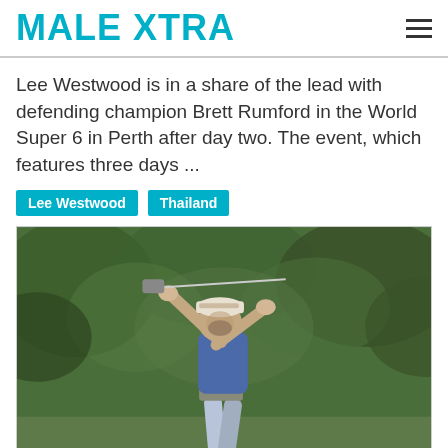MALE XTRA
Lee Westwood is in a share of the lead with defending champion Brett Rumford in the World Super 6 in Perth after day two. The event, which features three days ...
Lee Westwood
Thailand
[Figure (photo): A male golfer in a blue polo shirt and white cap, mid-swing follow-through with a golf club, with blurred green foliage in the background.]